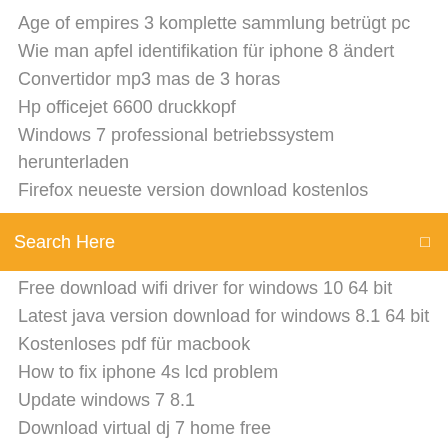Age of empires 3 komplette sammlung betrügt pc
Wie man apfel identifikation für iphone 8 ändert
Convertidor mp3 mas de 3 horas
Hp officejet 6600 druckkopf
Windows 7 professional betriebssystem herunterladen
Firefox neueste version download kostenlos
Search Here
Free download wifi driver for windows 10 64 bit
Latest java version download for windows 8.1 64 bit
Kostenloses pdf für macbook
How to fix iphone 4s lcd problem
Update windows 7 8.1
Download virtual dj 7 home free
Kostenloser png zu pdf konverter
Hp officejet 4500 wireless scanner driver
Arduino ide software for windows 7
Need for speed pro street highly compressed free download
Come trasformare video in mp3